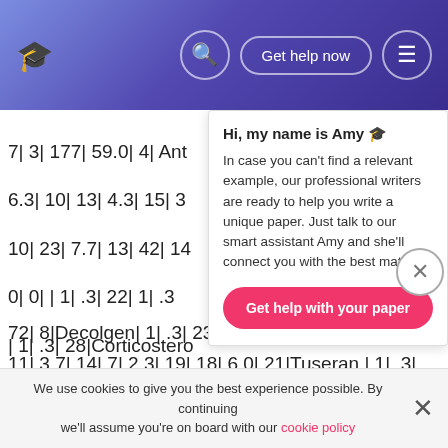Get help now
7| 3| 177| 59.0| 4| Ant
6.3| 10| 13| 4.3| 15| 3
10| 23| 7.7| 13| 42| 14
0| 0| | 1| .3| 22| 1| .3
| 1| .3| 28|Corticostero
0| 0| | 2| .7| 27|Predni
26|Dexamethasone| 2|.
and colds preparation| ||
72| 8|Decolgen| 1| .3| 23| 1| .3| 22| 2| .7| 27|Bioflu|
11| 3.7| 14| 7| 2.3| 19| 18| 6.0| 21|Tuseran | 1| .3|
23| 1| .3| 22| 2| .7| 27|Robitussin G. | 1| .3| 23| 0| 0|
Hi, my name is Amy 🎓
In case you can't find a relevant example, our professional writers are ready to help you write a unique paper. Just talk to our smart assistant Amy and she'll connect you with the best match.
Get help with your paper
We use cookies to give you the best experience possible. By continuing we'll assume you're on board with our cookie policy